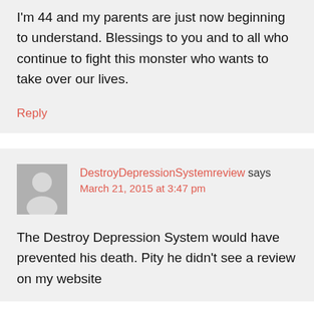I'm 44 and my parents are just now beginning to understand. Blessings to you and to all who continue to fight this monster who wants to take over our lives.
Reply
DestroyDepressionSystemreview says
March 21, 2015 at 3:47 pm
The Destroy Depression System would have prevented his death. Pity he didn't see a review on my website